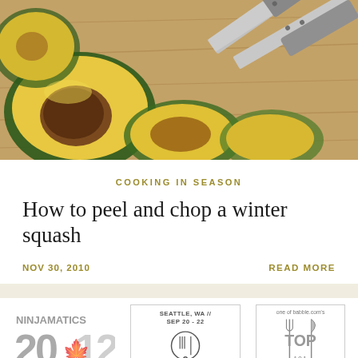[Figure (photo): Sliced winter squash pieces on a wooden cutting board with a large kitchen knife]
COOKING IN SEASON
How to peel and chop a winter squash
NOV 30, 2010
READ MORE
[Figure (logo): Ninjamatics 2012 logo badge]
[Figure (logo): Seattle WA // Sep 20-22 event badge with fork and knife icon]
[Figure (logo): one of babble.com's TOP badge with fork and knife icon]